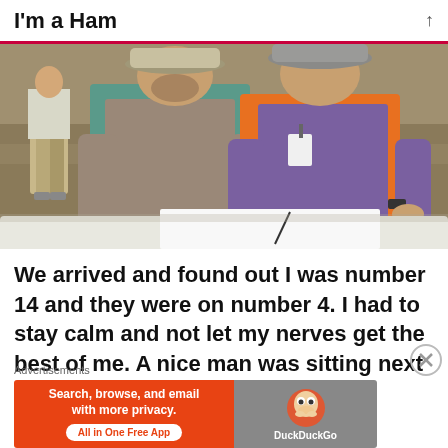I'm a Ham
[Figure (photo): Two people looking down at papers on a white table outdoors in a rocky/dusty area. One person wears a teal vest and cap, the other wears an orange vest with an ID badge and a gray cap. Another person with khaki pants is visible in the background to the left.]
We arrived and found out I was number 14 and they were on number 4. I had to stay calm and not let my nerves get the best of me. A nice man was sitting next to us and started talking with
Advertisements
[Figure (screenshot): DuckDuckGo advertisement banner. Left side is orange with text 'Search, browse, and email with more privacy.' and a button 'All in One Free App'. Right side is gray with a DuckDuckGo duck logo and text 'DuckDuckGo'.]